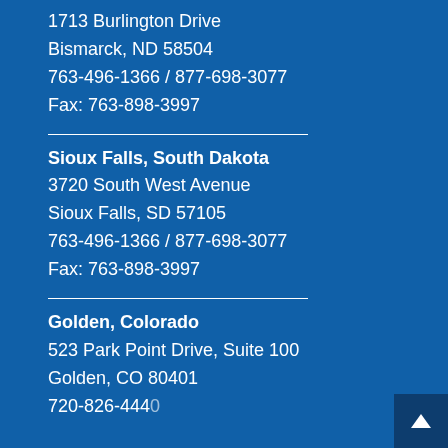1713 Burlington Drive
Bismarck, ND 58504
763-496-1366 / 877-698-3077
Fax: 763-898-3997
Sioux Falls, South Dakota
3720 South West Avenue
Sioux Falls, SD 57105
763-496-1366 / 877-698-3077
Fax: 763-898-3997
Golden, Colorado
523 Park Point Drive, Suite 100
Golden, CO 80401
720-826-4440